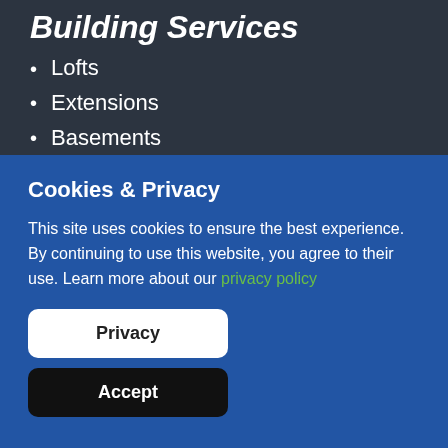Building Services
Lofts
Extensions
Basements
Renovations
Cookies & Privacy
This site uses cookies to ensure the best experience. By continuing to use this website, you agree to their use. Learn more about our privacy policy
Privacy
Accept